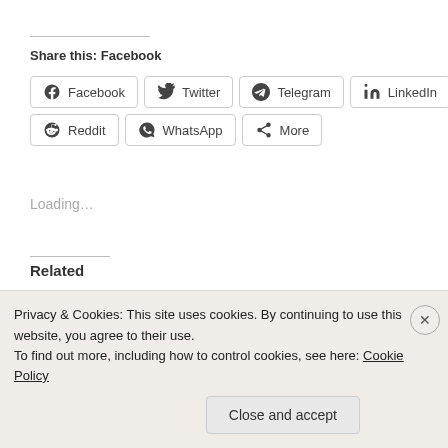Share this: Facebook
Facebook
Twitter
Telegram
LinkedIn
Reddit
WhatsApp
More
Loading...
Related
[Figure (photo): Two related article thumbnail images side by side]
Privacy & Cookies: This site uses cookies. By continuing to use this website, you agree to their use.
To find out more, including how to control cookies, see here: Cookie Policy
Close and accept